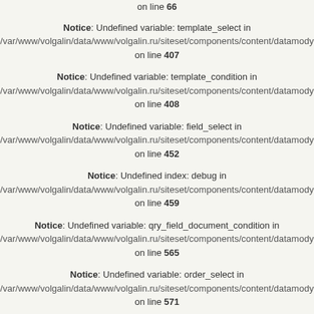on line 66
Notice: Undefined variable: template_select in /var/www/volgalin/data/www/volgalin.ru/siteset/components/content/datamodu on line 407
Notice: Undefined variable: template_condition in /var/www/volgalin/data/www/volgalin.ru/siteset/components/content/datamodu on line 408
Notice: Undefined variable: field_select in /var/www/volgalin/data/www/volgalin.ru/siteset/components/content/datamodu on line 452
Notice: Undefined index: debug in /var/www/volgalin/data/www/volgalin.ru/siteset/components/content/datamodu on line 459
Notice: Undefined variable: qry_field_document_condition in /var/www/volgalin/data/www/volgalin.ru/siteset/components/content/datamodu on line 565
Notice: Undefined variable: order_select in /var/www/volgalin/data/www/volgalin.ru/siteset/components/content/datamodu on line 571
Notice: Undefined variable: str_group_by in